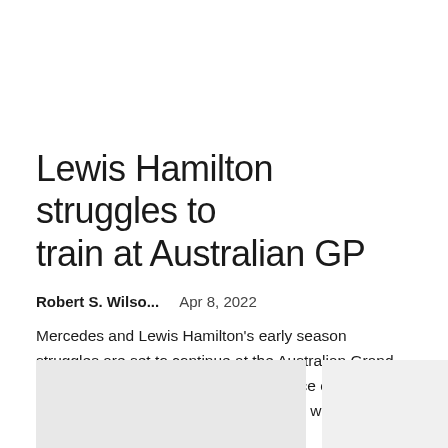Lewis Hamilton struggles to train at Australian GP
Robert S. Wilso...    Apr 8, 2022
Mercedes and Lewis Hamilton's early season struggles are set to continue at the Australian Grand Prix with the team well behind in practice on Friday. The defending constructors' champions were again far behind Ferrari and Red Bull, who...
[Figure (photo): Article thumbnail image placeholder (light gray box)]